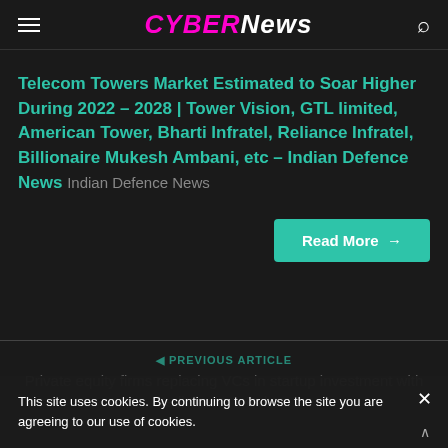CYBERNews
Telecom Towers Market Estimated to Soar Higher During 2022 – 2028 | Tower Vision, GTL limited, American Tower, Bharti Infratel, Reliance Infratel, Billionaire Mukesh Ambani, etc – Indian Defence News  Indian Defence News
Read More →
◄ PREVIOUS ARTICLE
Private equity firms replacing VCs in startup investment with credit loans – Pulse...
This site uses cookies. By continuing to browse the site you are agreeing to our use of cookies.